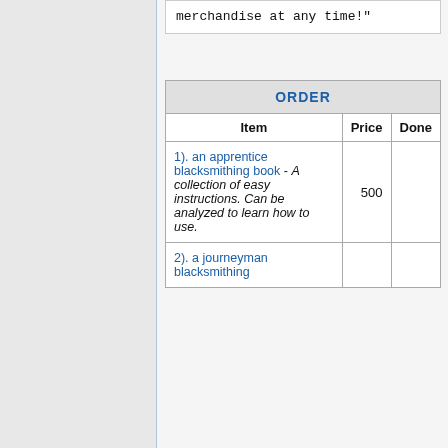merchandise at any time!"
| Item | Price | Done |
| --- | --- | --- |
| 1). an apprentice blacksmithing book - A collection of easy instructions. Can be analyzed to learn how to use. | 500 |  |
| 2). a journeyman blacksmithing |  |  |